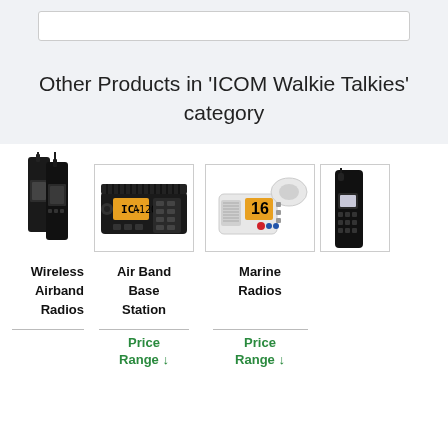Other Products in 'ICOM Walkie Talkies' category
[Figure (photo): Partial view of two black handheld walkie-talkie radios (left cut off)]
[Figure (photo): ICOM Air Band Base Station radio unit in black]
[Figure (photo): ICOM Marine Radio unit in white]
[Figure (photo): Partial view of a black handheld walkie-talkie radio (right cut off)]
Wireless Airband Radios
Air Band Base Station
Marine Radios
Price Range
Price Range